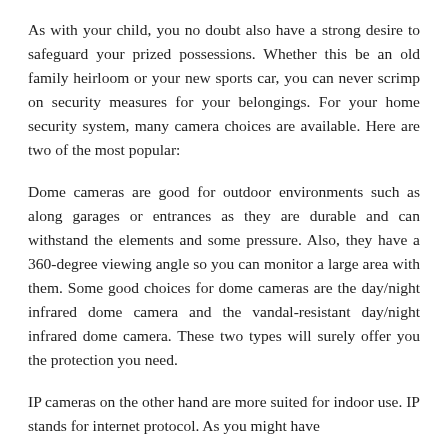As with your child, you no doubt also have a strong desire to safeguard your prized possessions. Whether this be an old family heirloom or your new sports car, you can never scrimp on security measures for your belongings. For your home security system, many camera choices are available. Here are two of the most popular:
Dome cameras are good for outdoor environments such as along garages or entrances as they are durable and can withstand the elements and some pressure. Also, they have a 360-degree viewing angle so you can monitor a large area with them. Some good choices for dome cameras are the day/night infrared dome camera and the vandal-resistant day/night infrared dome camera. These two types will surely offer you the protection you need.
IP cameras on the other hand are more suited for indoor use. IP stands for internet protocol. As you might have